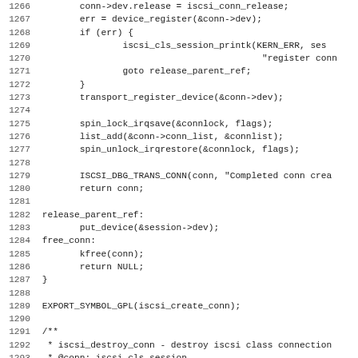[Figure (screenshot): Source code listing in monospace font showing C code for Linux kernel iSCSI connection management, lines 1266-1298. Includes functions iscsi_create_conn and beginning of iscsi_destroy_conn with comments.]